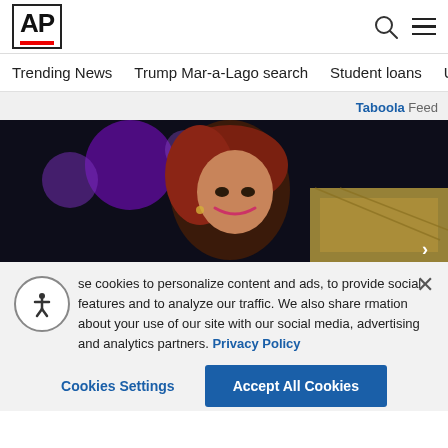[Figure (logo): AP (Associated Press) logo in black bold text with red underline bar]
Trending News   Trump Mar-a-Lago search   Student loans   U.S.
Taboola Feed
[Figure (photo): Woman with reddish-brown hair performing on stage with purple stage lights in background, smiling upward. Partial image of a bridge scene in lower right corner.]
se cookies to personalize content and ads, to provide social features and to analyze our traffic. We also share rmation about your use of our site with our social media, advertising and analytics partners. Privacy Policy
Cookies Settings
Accept All Cookies